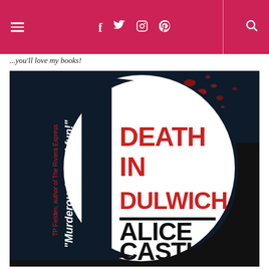social navigation header with hamburger menu, social icons (f, twitter, instagram, pinterest), divider, and search icon on pink/crimson background
...you'll love my books!
[Figure (photo): Book cover of 'Death in Dulwich' by Alice Castle. Dark navy/black background with large letter D outline. Blood spatter effect at top. White circular area inside D contains red bold text 'DEATH IN DULWICH'. Below a black horizontal line: 'ALICE CASTLE' in large black bold text. Left side has quote in white italic bold: '"Murderously good fun!"' and in red smaller text 'TP Fielden, author of The Riviera Express']